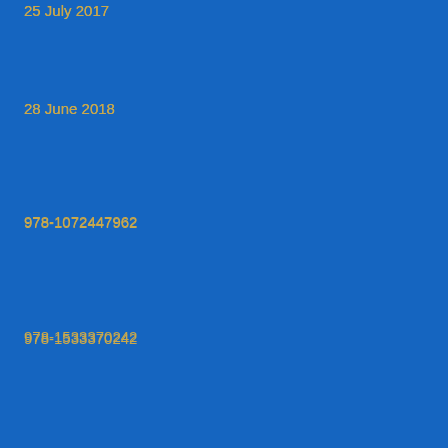25 July 2017
28 June 2018
978-1072447962
978-1533370242
2018
2018 International Pacific Book Awards
2018 Readers Favorite Book Awards
2018 Readers Favorite International Book Awards
2018 Readers’ Favorite Book Awards
2018 Readers’ Favorite International Book Awards